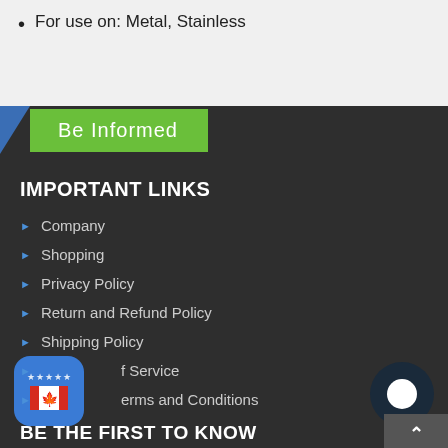For use on: Metal, Stainless
[Figure (illustration): Green 'Be Informed' button banner with blue triangle accent on dark background]
IMPORTANT LINKS
Company
Shopping
Privacy Policy
Return and Refund Policy
Shipping Policy
Terms of Service
Copyright Terms and Conditions
BE THE FIRST TO KNOW